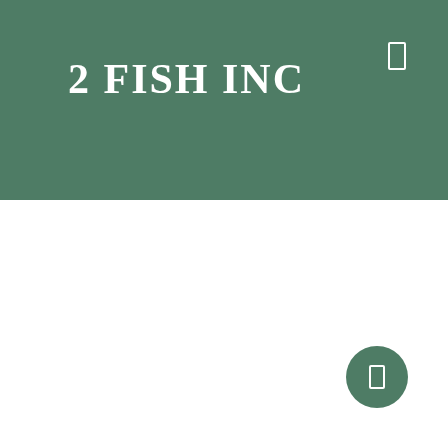2 FISH INC
[Figure (other): Circular floating action button with a rectangle/menu icon, positioned in the bottom-right corner]
[Figure (other): Rectangle/menu icon in the top-right corner of the header bar]